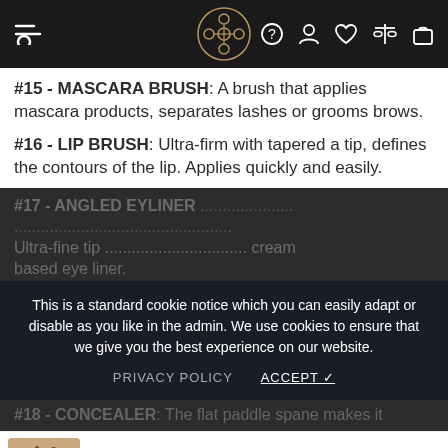Navigation bar with logo and icons
#15 - MASCARA BRUSH: A brush that applies mascara products, separates lashes or grooms brows.
#16 - LIP BRUSH: Ultra-firm with tapered a tip, defines the contours of the lip. Applies quickly and easily.
This is a standard cookie notice which you can easily adapt or disable as you like in the admin. We use cookies to ensure that we give you the best experience on our website.
PRIVACY POLICY    ACCEPT ✓
#17 - ANGLED EYELINER ... Ultra-fine tip ... cream based eye liner.
#18 - CONCEALER: The flat paddle spane makes it
$88.89  $48.89  Chat with us  ART